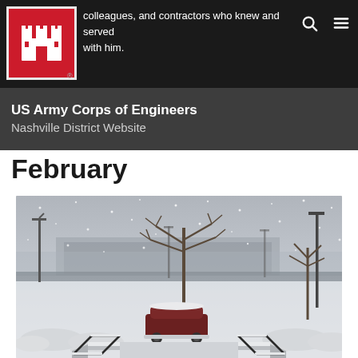colleagues, and contractors who knew and served with him.
US Army Corps of Engineers Nashville District Website
February
[Figure (photo): A winter snow scene showing a snow-covered outdoor area with stairs with railings in the foreground, a parked SUV covered in snow, bare trees in the background, lamp posts, and buildings in the distance under heavy snowfall and grey sky.]